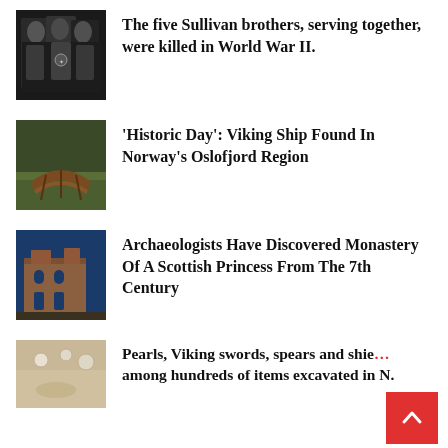[Figure (photo): Black and white photo of five Sullivan brothers in military uniforms]
The five Sullivan brothers, serving together, were killed in World War II.
[Figure (photo): Photo of a wooden Viking ship on grass]
‘Historic Day’: Viking Ship Found In Norway’s Oslofjord Region
[Figure (photo): Photo of a stone monastery building]
Archaeologists Have Discovered Monastery Of A Scottish Princess From The 7th Century
[Figure (photo): Close-up photo of archaeological artefacts including pearls]
Pearls, Viking swords, spears and shields among hundreds of items excavated in N.